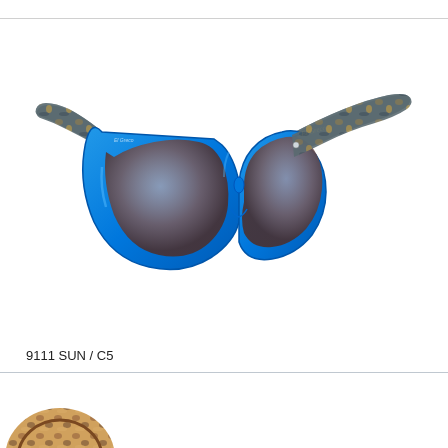[Figure (photo): Blue cat-eye sunglasses with tortoiseshell patterned arms/temples. The frames are bright blue/cyan transparent acetate with gradient brown/grey lenses. The brand appears to be El Greco. Product view on white background.]
9111 SUN / C5
[Figure (photo): Partial view of another pair of sunglasses at the bottom of the page, showing tortoiseshell/brown patterned frames, partially cropped.]